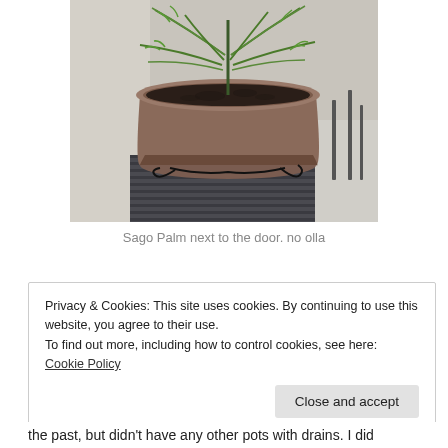[Figure (photo): A potted Sago Palm plant sitting on a mat near a door. The large terracotta-colored pot contains dark soil with a small palm plant growing from the center. A black cord/wire is visible coiled under the pot.]
Sago Palm next to the door. no olla
Privacy & Cookies: This site uses cookies. By continuing to use this website, you agree to their use.
To find out more, including how to control cookies, see here: Cookie Policy
the past, but didn't have any other pots with drains. I did